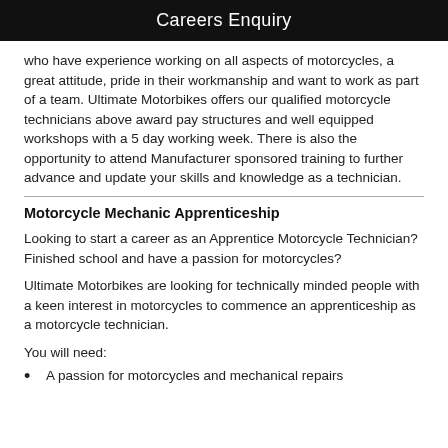Careers Enquiry
who have experience working on all aspects of motorcycles, a great attitude, pride in their workmanship and want to work as part of a team. Ultimate Motorbikes offers our qualified motorcycle technicians above award pay structures and well equipped workshops with a 5 day working week. There is also the opportunity to attend Manufacturer sponsored training to further advance and update your skills and knowledge as a technician.
Motorcycle Mechanic Apprenticeship
Looking to start a career as an Apprentice Motorcycle Technician? Finished school and have a passion for motorcycles?
Ultimate Motorbikes are looking for technically minded people with a keen interest in motorcycles to commence an apprenticeship as a motorcycle technician.
You will need:
A passion for motorcycles and mechanical repairs